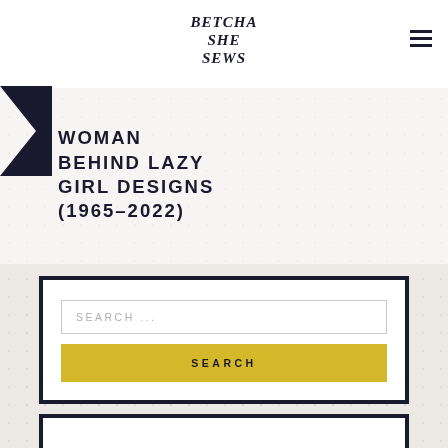[Figure (logo): Betcha She Sews logo in decorative serif font]
WOMAN BEHIND LAZY GIRL DESIGNS (1965–2022)
SEARCH ...
SEARCH